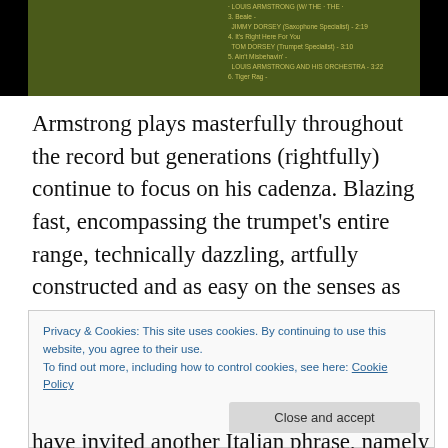[Figure (photo): Close-up photograph of a green vinyl record label with yellow/gold text listing track names including Jimmy Dorsey, Tom Dorsey, Louis Armstrong and his Orchestra]
Armstrong plays masterfully throughout the record but generations (rightfully) continue to focus on his cadenza. Blazing fast, encompassing the trumpet's entire range, technically dazzling, artfully constructed and as easy on the senses as the curves of a Botticelli bathing beauty, Armstrong could have easily played just this brief free-tempo improvisation and more than satisfied most listeners.
Privacy & Cookies: This site uses cookies. By continuing to use this website, you agree to their use.
To find out more, including how to control cookies, see here: Cookie Policy
have invited another Italian phrase, namely agita. It's not a